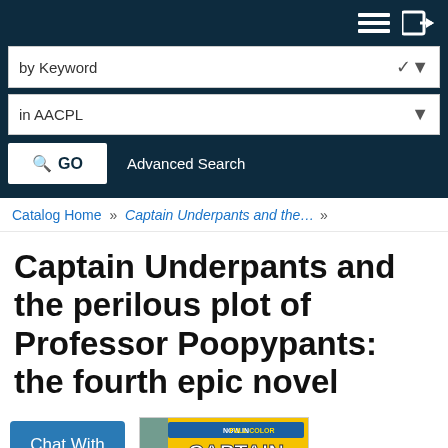by Keyword | in AACPL | GO | Advanced Search
Catalog Home » Captain Underpants and the... »
Captain Underpants and the perilous plot of Professor Poopypants: the fourth epic novel
[Figure (illustration): Book cover for Captain Underpants and the Perilous Plot of Professor Poopypants - NOW IN FULL COLOR, yellow background with cartoon characters]
Chat With Us